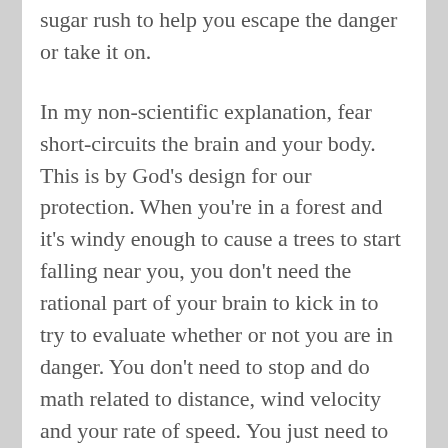sugar rush to help you escape the danger or take it on.
In my non-scientific explanation, fear short-circuits the brain and your body. This is by God's design for our protection. When you're in a forest and it's windy enough to cause a trees to start falling near you, you don't need the rational part of your brain to kick in to try to evaluate whether or not you are in danger. You don't need to stop and do math related to distance, wind velocity and your rate of speed. You just need to run for your life. The chemicals released